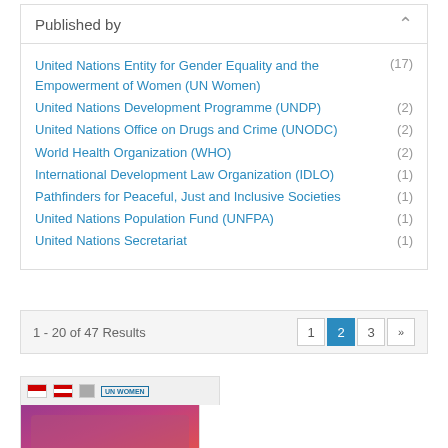Published by
United Nations Entity for Gender Equality and the Empowerment of Women (UN Women) (17)
United Nations Development Programme (UNDP) (2)
United Nations Office on Drugs and Crime (UNODC) (2)
World Health Organization (WHO) (2)
International Development Law Organization (IDLO) (1)
Pathfinders for Peaceful, Just and Inclusive Societies (1)
United Nations Population Fund (UNFPA) (1)
United Nations Secretariat (1)
1 - 20 of 47 Results
[Figure (screenshot): Thumbnail of a publication with flags and UN Women logo at top, showing people gathered around a table with a purple/red gradient background and small text below]